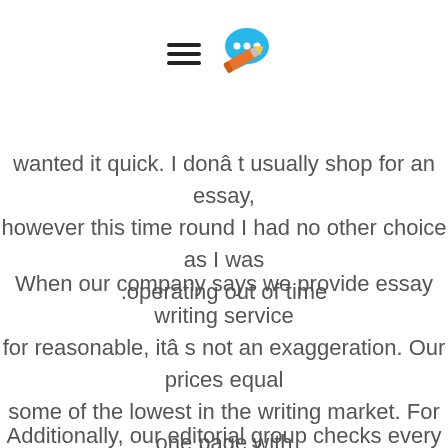[Figure (logo): Hamburger menu icon and chat bubble with pencil icon]
wanted it quick. I donâ t usually shop for an essay, however this time round I had no other choice as I was operating out of time.
When our company says we provide essay writing service for reasonable, itâ s not an exaggeration. Our prices equal some of the lowest in the writing market. For one page with a normal deadline of 14 days, we ask for $11.99 only. 6 hours is the minimal deadline they accept; the worth for this is ready to be $38.99.
Additionally, our editorial group checks every paper for